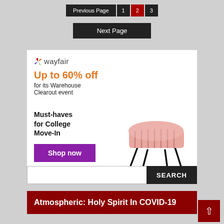Previous Page | 1 | 2 | 3
Next Page
[Figure (illustration): Wayfair advertisement banner with a pink tufted ottoman stool on hairpin legs. Text reads: 'wayfair — Up to 60% off for its Warehouse Clearout event — Must-haves for College Move-In — Shop now']
SEARCH
Atmospheric: Holy Spirit In COVID-19